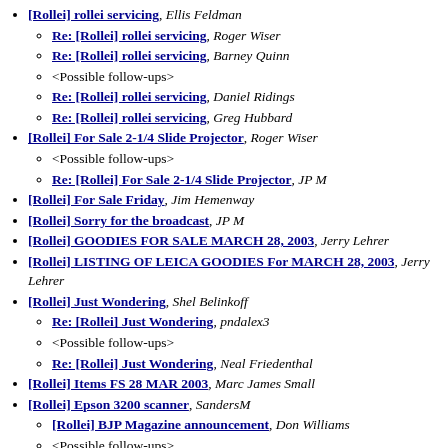[Rollei] rollei servicing, Ellis Feldman
Re: [Rollei] rollei servicing, Roger Wiser
Re: [Rollei] rollei servicing, Barney Quinn
<Possible follow-ups>
Re: [Rollei] rollei servicing, Daniel Ridings
Re: [Rollei] rollei servicing, Greg Hubbard
[Rollei] For Sale 2-1/4 Slide Projector, Roger Wiser
<Possible follow-ups>
Re: [Rollei] For Sale 2-1/4 Slide Projector, JP M
[Rollei] For Sale Friday, Jim Hemenway
[Rollei] Sorry for the broadcast, JP M
[Rollei] GOODIES FOR SALE MARCH 28, 2003, Jerry Lehrer
[Rollei] LISTING OF LEICA GOODIES For MARCH 28, 2003, Jerry Lehrer
[Rollei] Just Wondering, Shel Belinkoff
Re: [Rollei] Just Wondering, pndalex3
<Possible follow-ups>
Re: [Rollei] Just Wondering, Neal Friedenthal
[Rollei] Items FS 28 MAR 2003, Marc James Small
[Rollei] Epson 3200 scanner, SandersM
[Rollei] BJP Magazine announcement, Don Williams
<Possible follow-ups>
Re: [Rollei] Epson 3200 scanner, Neal Friedenthal